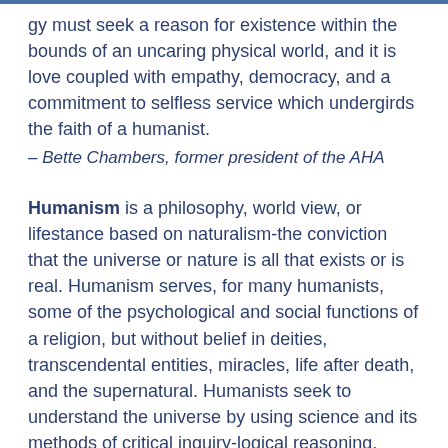gy must seek a reason for existence within the bounds of an uncaring physical world, and it is love coupled with empathy, democracy, and a commitment to selfless service which undergirds the faith of a humanist.
– Bette Chambers, former president of the AHA
Humanism is a philosophy, world view, or lifestance based on naturalism-the conviction that the universe or nature is all that exists or is real. Humanism serves, for many humanists, some of the psychological and social functions of a religion, but without belief in deities, transcendental entities, miracles, life after death, and the supernatural. Humanists seek to understand the universe by using science and its methods of critical inquiry-logical reasoning, empirical evidence, and skeptical evaluation of